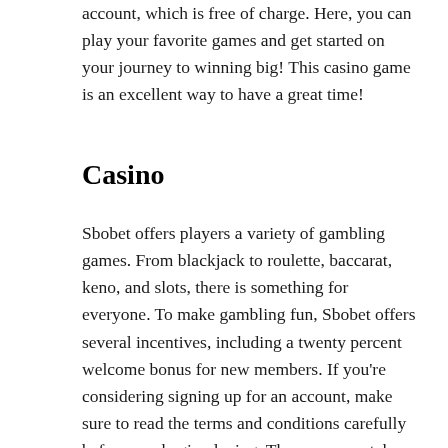account, which is free of charge. Here, you can play your favorite games and get started on your journey to winning big! This casino game is an excellent way to have a great time!
Casino
Sbobet offers players a variety of gambling games. From blackjack to roulette, baccarat, keno, and slots, there is something for everyone. To make gambling fun, Sbobet offers several incentives, including a twenty percent welcome bonus for new members. If you're considering signing up for an account, make sure to read the terms and conditions carefully before you begin playing. Then, you can take advantage of the numerous promotions offered by the casino.